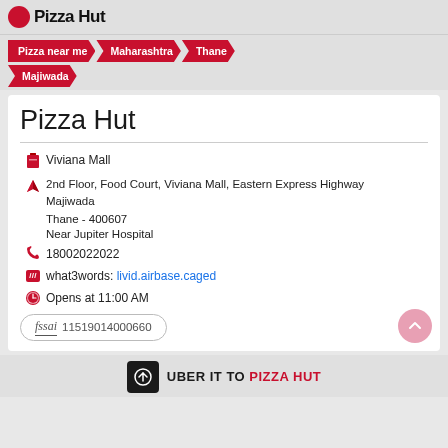Pizza Hut (logo/brand header)
Pizza near me > Maharashtra > Thane > Majiwada
Pizza Hut
Viviana Mall
2nd Floor, Food Court, Viviana Mall, Eastern Express Highway
Majiwada
Thane - 400607
Near Jupiter Hospital
18002022022
what3words: livid.airbase.caged
Opens at 11:00 AM
fssai 11519014000660
UBER IT TO PIZZA HUT